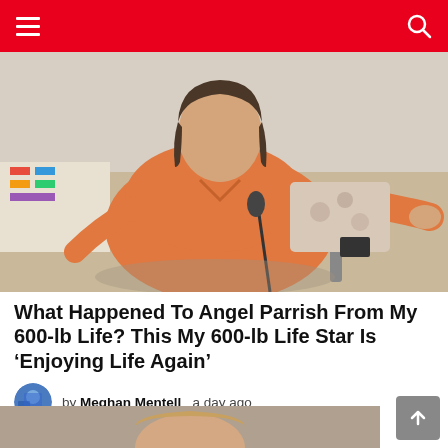Navigation header bar with hamburger menu and search icon
[Figure (photo): A large woman in an orange shirt sitting on a bed, with a microphone in front of her. Room has colorful blankets and various items on the bed.]
What Happened To Angel Parrish From My 600-lb Life? This My 600-lb Life Star Is ‘Enjoying Life Again’
by Meghan Mentell   a day ago
[Figure (photo): Partial photo visible at bottom of page, showing top of a person's head against a tan/brown background.]